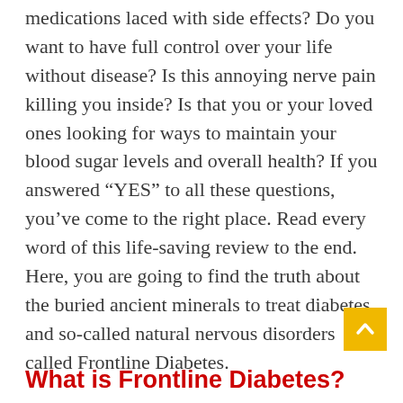medications laced with side effects? Do you want to have full control over your life without disease? Is this annoying nerve pain killing you inside? Is that you or your loved ones looking for ways to maintain your blood sugar levels and overall health? If you answered “YES” to all these questions, you’ve come to the right place. Read every word of this life-saving review to the end. Here, you are going to find the truth about the buried ancient minerals to treat diabetes and so-called natural nervous disorders called Frontline Diabetes.
What is Frontline Diabetes?